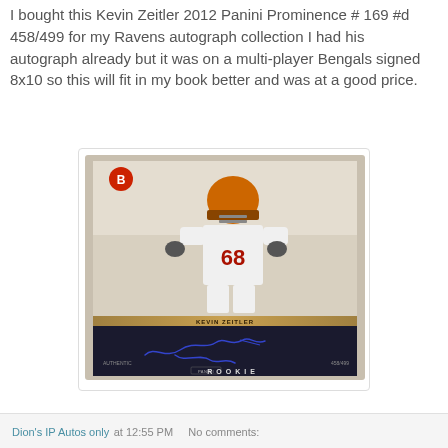I bought this Kevin Zeitler 2012 Panini Prominence # 169 #d 458/499 for my Ravens autograph collection I had his autograph already but it was on a multi-player Bengals signed 8x10 so this will fit in my book better and was at a good price.
[Figure (photo): A Kevin Zeitler 2012 Panini Prominence Rookie autograph trading card #169 #d 458/499. The card shows player #68 in a white Bengals uniform with a helmet, with an autograph in blue ink on the lower portion of the card, with 'ROOKIE' text at the bottom. The card is displayed in a plastic sleeve on a light background.]
Dion's IP Autos only at 12:55 PM    No comments: